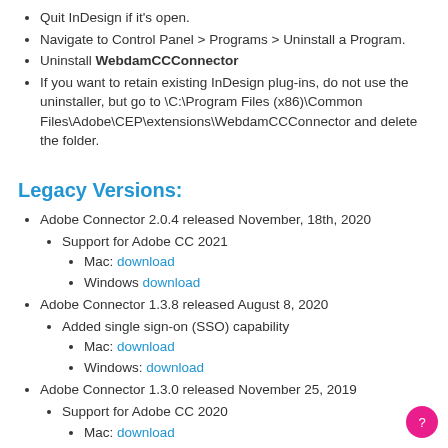Quit InDesign if it's open.
Navigate to Control Panel > Programs > Uninstall a Program.
Uninstall WebdamCCConnector
If you want to retain existing InDesign plug-ins, do not use the uninstaller, but go to \C:\Program Files (x86)\Common Files\Adobe\CEP\extensions\WebdamCCConnector and delete the folder.
Legacy Versions:
Adobe Connector 2.0.4 released November, 18th, 2020
Support for Adobe CC 2021
Mac: download
Windows download
Adobe Connector 1.3.8 released August 8, 2020
Added single sign-on (SSO) capability
Mac: download
Windows: download
Adobe Connector 1.3.0 released November 25, 2019
Support for Adobe CC 2020
Mac: download
Windows: download
Adobe Connector 1.2.10 release July 3, 2019